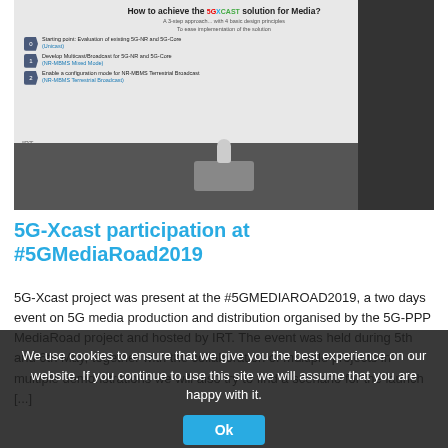[Figure (photo): Conference presentation photo showing a speaker at a podium in front of a projected slide about 5G-Xcast solution for media with three steps: Unicast, NR-MBMS Mixed Mode, and NR-MBMS Terrestrial Broadcast]
5G-Xcast participation at #5GMediaRoad2019
5G-Xcast project was present at the #5GMEDIAROAD2019, a two days event on 5G media production and distribution organised by the 5G-PPP MediaRoad project and hosted by IRT. The event was held during 5th and 6th May, together with the collaboration of multiple projects in multiple demonstrations we will also try to find a scenario for the launch [...]
We use cookies to ensure that we give you the best experience on our website. If you continue to use this site we will assume that you are happy with it.
Ok